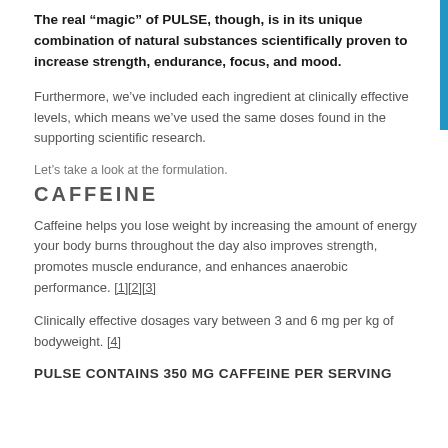The real “magic” of PULSE, though, is in its unique combination of natural substances scientifically proven to increase strength, endurance, focus, and mood.
Furthermore, we’ve included each ingredient at clinically effective levels, which means we’ve used the same doses found in the supporting scientific research.
Let’s take a look at the formulation.
CAFFEINE
Caffeine helps you lose weight by increasing the amount of energy your body burns throughout the day also improves strength, promotes muscle endurance, and enhances anaerobic performance. [1][2][3]
Clinically effective dosages vary between 3 and 6 mg per kg of bodyweight. [4]
PULSE CONTAINS 350 MG CAFFEINE PER SERVING